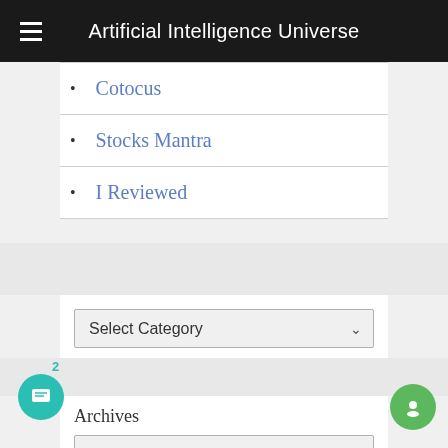Artificial Intelligence Universe
Cotocus
Stocks Mantra
I Reviewed
Select Category
Archives
Select Month